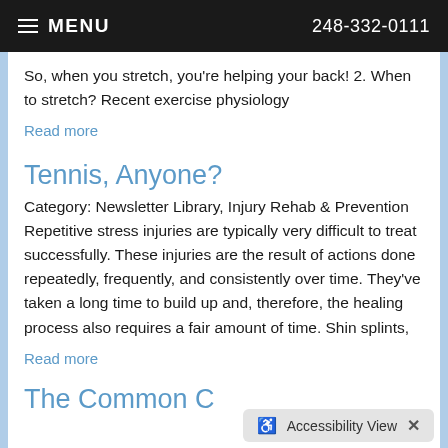MENU   248-332-0111
So, when you stretch, you're helping your back! 2. When to stretch? Recent exercise physiology
Read more
Tennis, Anyone?
Category: Newsletter Library, Injury Rehab & Prevention Repetitive stress injuries are typically very difficult to treat successfully. These injuries are the result of actions done repeatedly, frequently, and consistently over time. They've taken a long time to build up and, therefore, the healing process also requires a fair amount of time. Shin splints,
Read more
The Common C